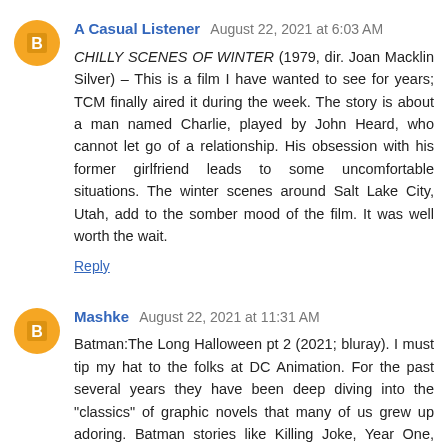A Casual Listener  August 22, 2021 at 6:03 AM
CHILLY SCENES OF WINTER (1979, dir. Joan Macklin Silver) – This is a film I have wanted to see for years; TCM finally aired it during the week. The story is about a man named Charlie, played by John Heard, who cannot let go of a relationship. His obsession with his former girlfriend leads to some uncomfortable situations. The winter scenes around Salt Lake City, Utah, add to the somber mood of the film. It was well worth the wait.
Reply
Mashke  August 22, 2021 at 11:31 AM
Batman:The Long Halloween pt 2 (2021; bluray). I must tip my hat to the folks at DC Animation. For the past several years they have been deep diving into the "classics" of graphic novels that many of us grew up adoring. Batman stories like Killing Joke, Year One, Gotham by Gaslight, and the seminal Dark Knight Returns. Theres no question that many many aspects of these stories and takes on